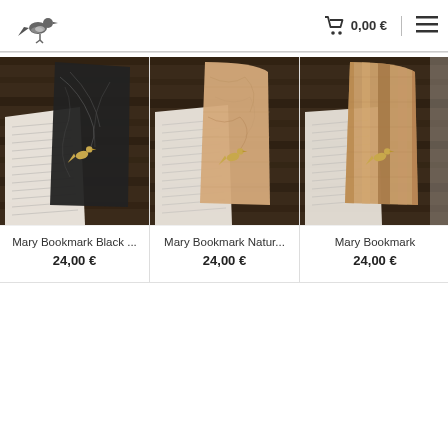Logo | 0,00 € | Menu
[Figure (photo): Mary Bookmark Black - cork bookmark with dark/black marbled texture and gold bird motif on an open book with wooden background]
Mary Bookmark Black ...
24,00 €
[Figure (photo): Mary Bookmark Natur - cork bookmark with natural beige/tan texture and gold bird motif on an open book with wooden background]
Mary Bookmark Natur...
24,00 €
[Figure (photo): Mary Bookmark - third variant with striped natural cork texture and gold bird motif on an open book with wooden background]
Mary Bookmark
24,00 €